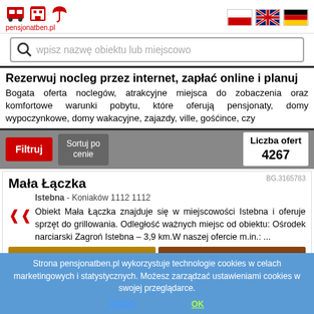pensjonatben.pl — logo and navigation header with flags (PL, EN, DE)
wpisz nazwę obiektu lub miejscowo (search bar placeholder)
Rezerwuj nocleg przez internet, zapłać online i planuj
Bogata oferta noclegów, atrakcyjne miejsca do zobaczenia oraz komfortowe warunki pobytu, które oferują pensjonaty, domy wypoczynkowe, domy wakacyjne, zajazdy, ville, gośćince, czy
Filtruj | Sortuj po cenie | Liczba ofert 4267
BG.3165783
Mała Łączka
Istebna - Koniaków 1112 1112
Obiekt Mała Łączka znajduje się w miejscowości Istebna i oferuje sprzęt do grillowania. Odległość ważnych miejsc od obiektu: Ośrodek narciarski Zagroń Istebna – 3,9 km.W naszej ofercie m.in.: ...
Strona pensjonatben.pl wykorzystuje technologie cookies w celach marketingowych i statystycznych. Możesz zarządzać ustawieniami cookies w swojej przeglądarce. RODO  OK